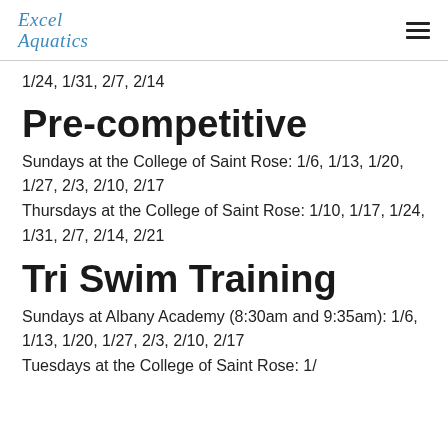Excel Aquatics
1/24, 1/31, 2/7, 2/14
Pre-competitive
Sundays at the College of Saint Rose: 1/6, 1/13, 1/20, 1/27, 2/3, 2/10, 2/17
Thursdays at the College of Saint Rose: 1/10, 1/17, 1/24, 1/31, 2/7, 2/14, 2/21
Tri Swim Training
Sundays at Albany Academy (8:30am and 9:35am): 1/6, 1/13, 1/20, 1/27, 2/3, 2/10, 2/17
Tuesdays at the College of Saint Rose: 1/...